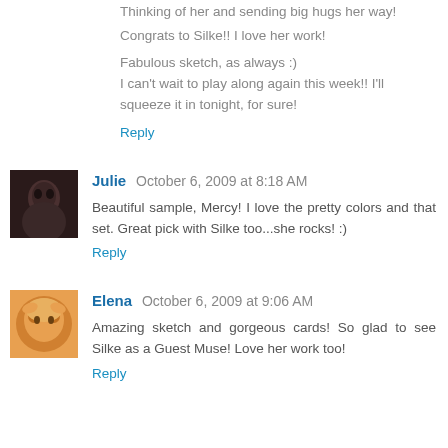Thinking of her and sending big hugs her way!
Congrats to Silke!! I love her work!
Fabulous sketch, as always :)
I can't wait to play along again this week!! I'll squeeze it in tonight, for sure!
Reply
Julie  October 6, 2009 at 8:18 AM
Beautiful sample, Mercy! I love the pretty colors and that set. Great pick with Silke too...she rocks! :)
Reply
Elena  October 6, 2009 at 9:06 AM
Amazing sketch and gorgeous cards! So glad to see Silke as a Guest Muse! Love her work too!
Reply